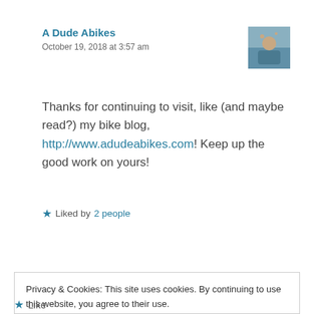A Dude Abikes
October 19, 2018 at 3:57 am
[Figure (photo): Avatar thumbnail image of a person on a bicycle]
Thanks for continuing to visit, like (and maybe read?) my bike blog, http://www.adudeabikes.com! Keep up the good work on yours!
★ Liked by 2 people
Reply
Privacy & Cookies: This site uses cookies. By continuing to use this website, you agree to their use.
To find out more, including how to control cookies, see here: Cookie Policy
Close and accept
★ Like